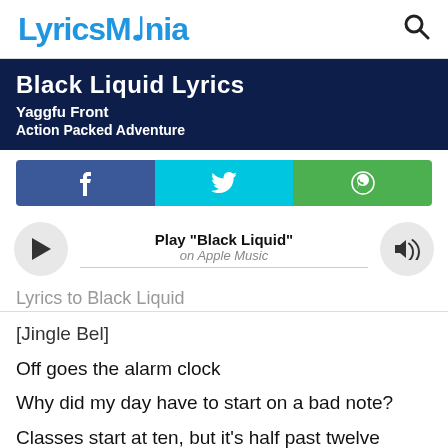LyricsMania
Black Liquid Lyrics
Yaggfu Front
Action Packed Adventure
[Figure (other): Social sharing buttons: Facebook (blue), Twitter (cyan), WhatsApp (green)]
[Figure (other): Music player row with play button, 'Play "Black Liquid" on Apple Music' label, and volume button]
Lyrics to Black Liquid
[Jingle Bel]
Off goes the alarm clock
Why did my day have to start on a bad note?
Classes start at ten, but it's half past twelve
Gotta drop this class